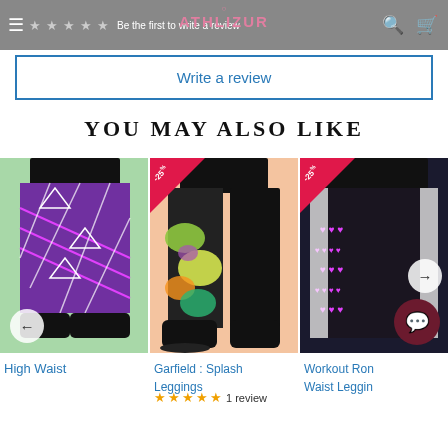Be the first to write a review
Write a review
YOU MAY ALSO LIKE
[Figure (photo): High Waist leggings product photo on green background]
[Figure (photo): Garfield: Splash Leggings product photo on peach background with -25% discount badge]
[Figure (photo): Workout Round Waist Leggings product photo on dark background with -25% discount badge]
High Waist
Garfield : Splash Leggings
1 review
Workout Ron Waist Leggin